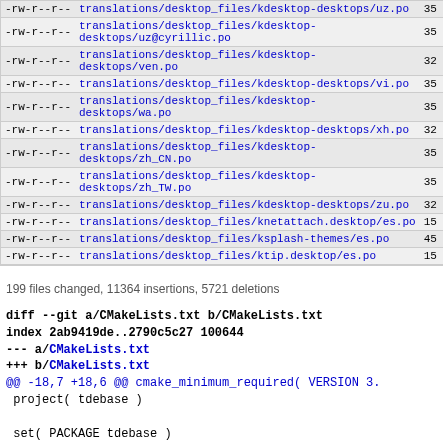| permissions | filename | number |
| --- | --- | --- |
| -rw-r--r-- | translations/desktop_files/kdesktop-desktops/uz.po | 35 |
| -rw-r--r-- | translations/desktop_files/kdesktop-desktops/uz@cyrillic.po | 35 |
| -rw-r--r-- | translations/desktop_files/kdesktop-desktops/ven.po | 32 |
| -rw-r--r-- | translations/desktop_files/kdesktop-desktops/vi.po | 35 |
| -rw-r--r-- | translations/desktop_files/kdesktop-desktops/wa.po | 35 |
| -rw-r--r-- | translations/desktop_files/kdesktop-desktops/xh.po | 32 |
| -rw-r--r-- | translations/desktop_files/kdesktop-desktops/zh_CN.po | 35 |
| -rw-r--r-- | translations/desktop_files/kdesktop-desktops/zh_TW.po | 35 |
| -rw-r--r-- | translations/desktop_files/kdesktop-desktops/zu.po | 32 |
| -rw-r--r-- | translations/desktop_files/knetattach.desktop/es.po | 15 |
| -rw-r--r-- | translations/desktop_files/ksplash-themes/es.po | 45 |
| -rw-r--r-- | translations/desktop_files/ktip.desktop/es.po | 15 |
199 files changed, 11364 insertions, 5721 deletions
diff --git a/CMakeLists.txt b/CMakeLists.txt
index 2ab9419de..2790c5c27 100644
--- a/CMakeLists.txt
+++ b/CMakeLists.txt
@@ -18,7 +18,6 @@ cmake_minimum_required( VERSION 3.
 project( tdebase )

 set( PACKAGE tdebase )